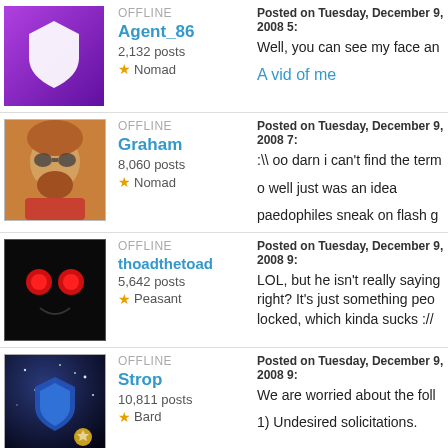OFFLINE
Agent_86
2,132 posts
Nomad
Posted on Tuesday, December 9, 2008 5:
Well, you can see my face an
A vid of me
OFFLINE
Graham
8,060 posts
Nomad
Posted on Tuesday, December 9, 2008 7:
:\ oo darn i can't find the term
o well just was an idea
paedophiles sneak on flash g
OFFLINE
thoadthetoad
5,642 posts
Peasant
Posted on Tuesday, December 9, 2008 9:
LOL, but he isn't really saying right? It's just something people locked, which kinda sucks ://
OFFLINE
Strop
10,811 posts
Bard
Posted on Tuesday, December 9, 2008 9:
We are worried about the foll
1) Undesired solicitations.